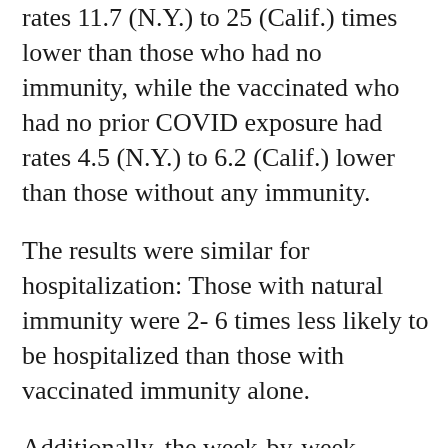rates 11.7 (N.Y.) to 25 (Calif.) times lower than those who had no immunity, while the vaccinated who had no prior COVID exposure had rates 4.5 (N.Y.) to 6.2 (Calif.) lower than those without any immunity.
The results were similar for hospitalization: Those with natural immunity were 2- 6 times less likely to be hospitalized than those with vaccinated immunity alone.
Additionally, the week-by-week hospitalization risk data often showed natural immunity registering lower risk rates than even hybrid immunity (vaccination plus prior recovery from COVID).
During the last three months of the study (Sept. 4 to